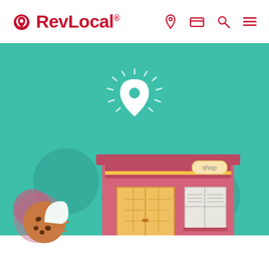RevLocal® — navigation bar with location, card, search, and menu icons
[Figure (illustration): Teal/green hero background with an illustrated shop storefront showing a pink/red building with a 'shop' sign, golden double doors, display windows, and a glowing location pin icon above]
Site Cookie Acknowledgement ✕
We use cookies to improve user experience. For more information, visit our Privacy Policy.
You know your restaurant needs digital marketing, but there are so many
ACCEPT